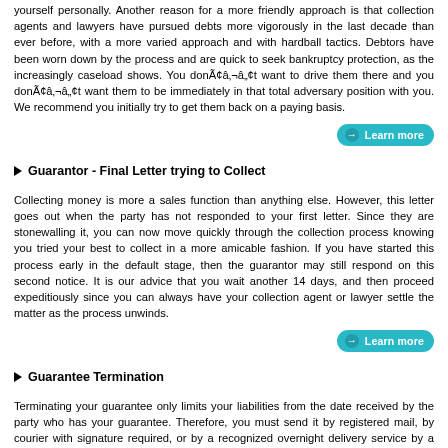yourself personally. Another reason for a more friendly approach is that collection agents and lawyers have pursued debts more vigorously in the last decade than ever before, with a more varied approach and with hardball tactics. Debtors have been worn down by the process and are quick to seek bankruptcy protection, as the increasingly caseload shows. You donÃ¢â‚¬â„¢t want to drive them there and you donÃ¢â‚¬â„¢t want them to be immediately in that total adversary position with you. We recommend you initially try to get them back on a paying basis.
Guarantor - Final Letter trying to Collect
Collecting money is more a sales function than anything else. However, this letter goes out when the party has not responded to your first letter. Since they are stonewalling it, you can now move quickly through the collection process knowing you tried your best to collect in a more amicable fashion. If you have started this process early in the default stage, then the guarantor may still respond on this second notice. It is our advice that you wait another 14 days, and then proceed expeditiously since you can always have your collection agent or lawyer settle the matter as the process unwinds.
Guarantee Termination
Terminating your guarantee only limits your liabilities from the date received by the party who has your guarantee. Therefore, you must send it by registered mail, by courier with signature required, or by a recognized overnight delivery service by a firm such as FedEx. You should only take this action if you believe the party whose debt you are guaranteeing will continue to make payments against the guarantee outstanding and the party holding the guarantee will not just use this to call the debt and therefore put you back in the same place you